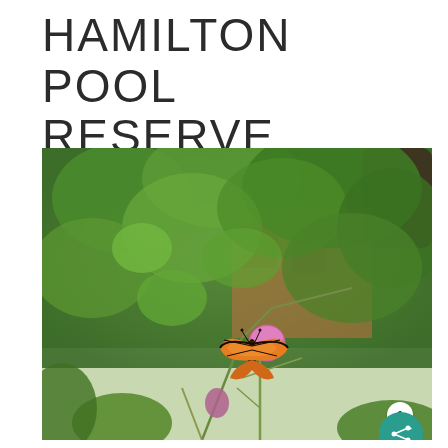HAMILTON POOL RESERVE
[Figure (photo): A monarch butterfly resting on a pink thistle flower in front of dense green foliage and a rustic wooden building at Hamilton Pool Reserve]